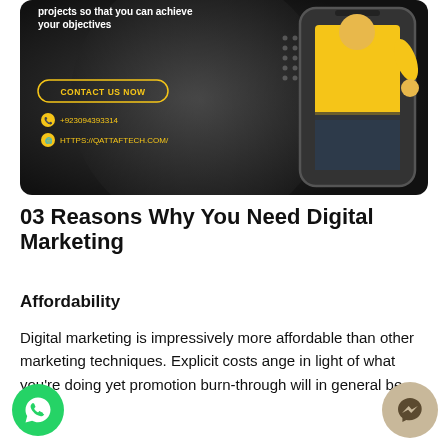[Figure (illustration): Dark-themed digital marketing banner with a person in a yellow sweater shown inside a phone frame on the right side. Left side shows text 'projects so that you can achieve your objectives', a yellow 'CONTACT US NOW' button, phone number +923094393314, and website HTTPS://QATTAFTECH.COM/. Background is dark/black with graphic elements.]
03 Reasons Why You Need Digital Marketing
Affordability
Digital marketing is impressively more affordable than other marketing techniques. Explicit costs ange in light of what you're doing yet promotion burn-through will in general be lower